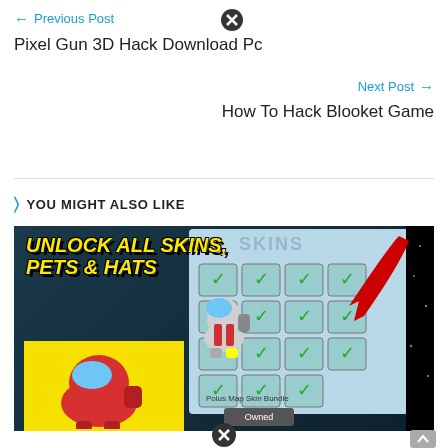← Previous Post
Pixel Gun 3D Hack Download Pc
Next Post →
How To Hack Blooket Game
> YOU MIGHT ALSO LIKE
[Figure (screenshot): Game screenshot thumbnail showing 'UNLOCK ALL SKINS, PETS & HATS' text overlay on Among Us game with skin selection panel showing green-checked character skins. Shows 'Polus Map Skin Bundle' label and 'Owned' button.]